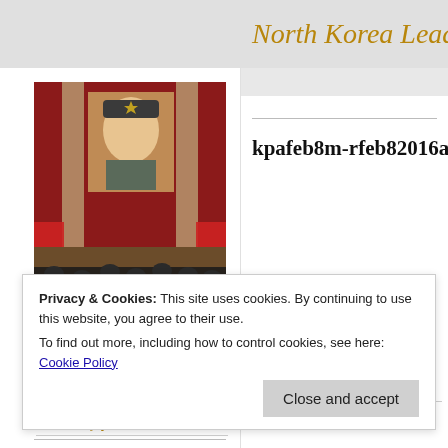North Korea Leaders
[Figure (photo): Photo of a large portrait of a North Korean leader hanging in a meeting hall with rows of seated attendees in the foreground, red curtains and columns in the background]
About
Biographies
Kim Family
kpafeb8m-rfeb82016a
Kim Jong-il (1941-2011)
Kim Jong-un
Security Apparatus
The Party
Privacy & Cookies: This site uses cookies. By continuing to use this website, you agree to their use.
To find out more, including how to control cookies, see here: Cookie Policy